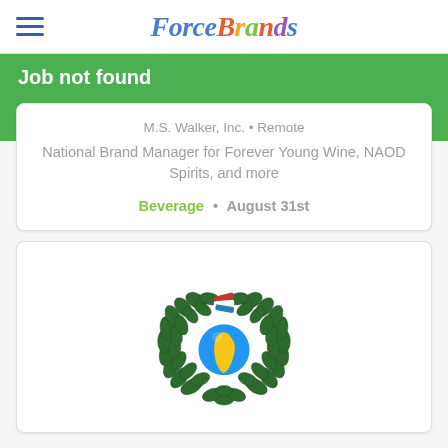ForceBrands
Job not found
M.S. Walker, Inc. • Remote
National Brand Manager for Forever Young Wine, NAOD Spirits, and more
Beverage • August 31st
[Figure (logo): Heart-shaped laurel wreath logo with a blue globe showing South America in yellow, and a red-white-blue ribbon at the top center]